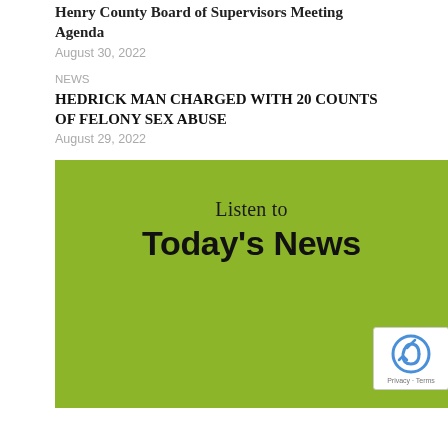Henry County Board of Supervisors Meeting Agenda
August 30, 2022
NEWS
HEDRICK MAN CHARGED WITH 20 COUNTS OF FELONY SEX ABUSE
August 29, 2022
[Figure (infographic): Green banner with text 'Listen to Today's News' and a reCAPTCHA Privacy-Terms badge in the lower right corner]